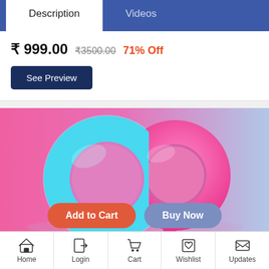Description | Videos
₹ 999.00  ₹3500.00  71% Off
See Preview
[Figure (photo): 3D render of two interlocked rings (torus shapes) — one cyan/teal and one pink — on a pink-to-blue gradient background, representing a gender/relationship concept.]
Add to Cart | Buy Now
Home | Login | Cart | Wishlist | Updates